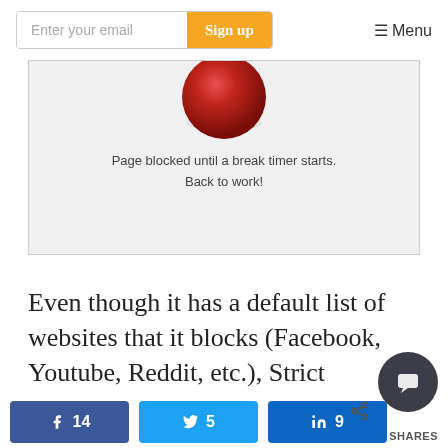Enter your email  Sign up  ☰ Menu
[Figure (screenshot): Screenshot of a browser extension blocking a page. Shows a red ball icon and text: 'Page blocked until a break timer starts. Back to work!']
Even though it has a default list of websites that it blocks (Facebook, Youtube, Reddit, etc.), Strict Workflow lets you customize the list according to your own preferences an
14   5   9   SHARES